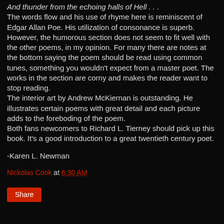And thunder from the echoing halls of Hell . . .
The words flow and his use of rhyme here is reminiscent of Edgar Allan Poe. His utilization of consonance is superb. However, the humorous section does not seem to fit well with the other poems, in my opinion. For many there are notes at the bottom saying the poem should be read using common tunes, something you wouldn't expect from a master poet. The works in the section are corny and makes the reader want to stop reading.
The interior art by Andrew McKiernan is outstanding. He illustrates certain poems with great detail and each picture adds to the foreboding of the poem.
Both fans newcomers to Richard L. Tierney should pick up this book. It's a good introduction to a great twentieth century poet.
-Karen L. Newman
Nickolas Cook at 6:30 AM
Share